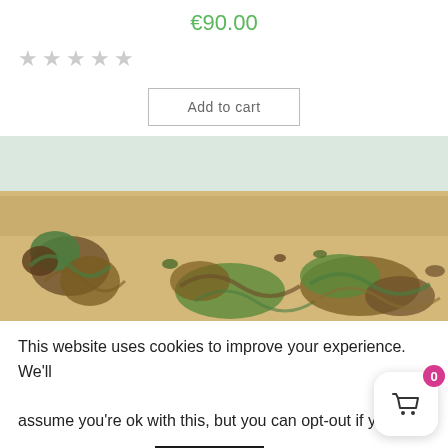€90.00
[Figure (other): Five empty star rating icons in gray]
Add to cart
[Figure (photo): Aerial photo of a decorative world map artwork made on a wooden surface with colorful painted continents in green, red, and brown tones on a sandy/beige background]
This website uses cookies to improve your experience. We'll assume you're ok with this, but you can opt-out if you
Cookie settings
ACCEPT